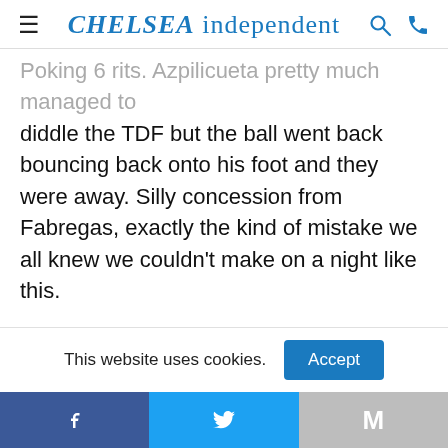CHELSEA independent
Poking 6 rits. Azpilicueta pretty much managed to diddle the TDF but the ball went back bouncing back onto his foot and they were away. Silly concession from Fabregas, exactly the kind of mistake we all knew we couldn't make on a night like this.
Two silly errors, resulting in two shots, and two goals from them. Moses had space, their long passing wasn't great, Hazard and Willian looked